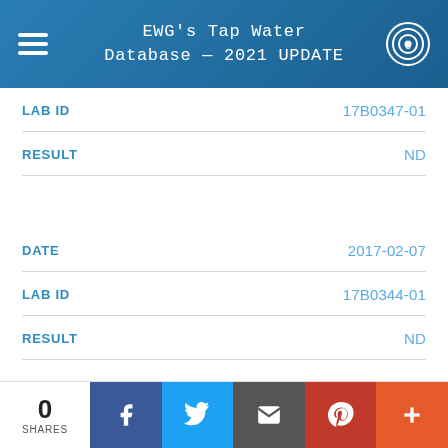EWG's Tap Water Database — 2021 UPDATE
| Field | Value |
| --- | --- |
| LAB ID | 17B0347-01 |
| RESULT | ND |
| DATE | 2017-02-07 |
| LAB ID | 17B0344-01 |
| RESULT | ND |
| DATE | 2017-02-07 |
0 SHARES | Facebook | Twitter | Email | Pinterest | More